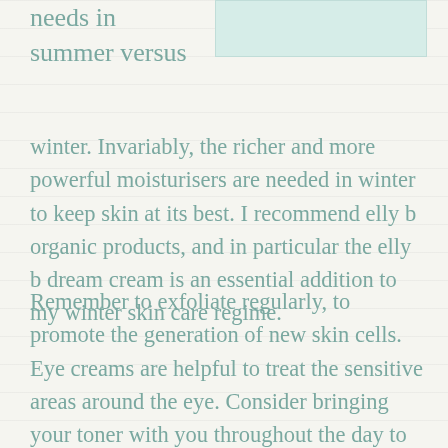needs in summer versus winter. Invariably, the richer and more powerful moisturisers are needed in winter to keep skin at its best. I recommend elly b organic products, and in particular the elly b dream cream is an essential addition to my winter skin care regime.
[Figure (other): Light green/teal colored rectangular image placeholder in upper right area]
Remember to exfoliate regularly, to promote the generation of new skin cells. Eye creams are helpful to treat the sensitive areas around the eye. Consider bringing your toner with you throughout the day to keep you refreshed and moist.